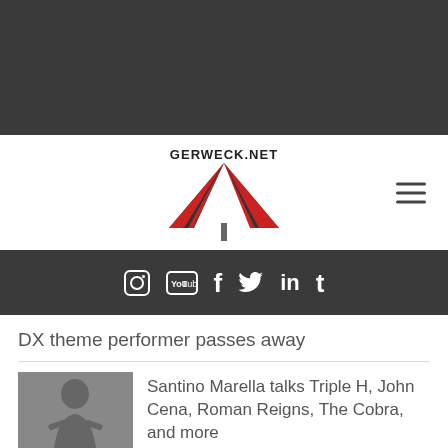[Figure (logo): Dark top bar area]
[Figure (logo): Gerweck.net logo — wrestling ring corner graphic with red and black stripes and site name]
[Figure (infographic): Social media icon bar: Instagram, YouTube, Facebook, Twitter, LinkedIn, Tumblr]
DX theme performer passes away
[Figure (photo): Thumbnail photo of Santino Marella, shirtless male wrestler]
Santino Marella talks Triple H, John Cena, Roman Reigns, The Cobra, and more
[Figure (photo): Partial thumbnail of second article, red background with face visible]